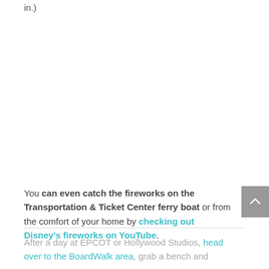in.)
You can even catch the fireworks on the Transportation & Ticket Center ferry boat or from the comfort of your home by checking out Disney's fireworks on YouTube.
After a day at EPCOT or Hollywood Studios, head over to the BoardWalk area, grab a bench and